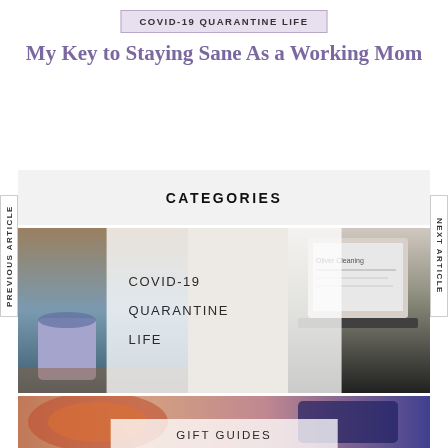COVID-19 QUARANTINE LIFE
My Key to Staying Sane As a Working Mom
CATEGORIES
[Figure (photo): Photo collage showing a floral mug with blue interior on a wooden surface (left) and a laptop with text visible (right), overlaid with a semi-transparent white box listing COVID-19, QUARANTINE, LIFE category links]
COVID-19
QUARANTINE
LIFE
[Figure (photo): Photo showing a person with a colorful scarf/wrap and a dark handbag, with a semi-transparent white overlay showing GIFT GUIDES text]
GIFT GUIDES